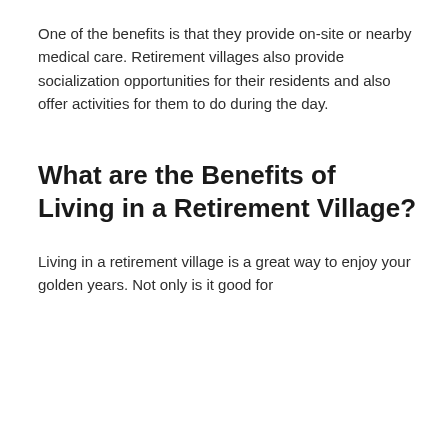One of the benefits is that they provide on-site or nearby medical care. Retirement villages also provide socialization opportunities for their residents and also offer activities for them to do during the day.
What are the Benefits of Living in a Retirement Village?
Living in a retirement village is a great way to enjoy your golden years. Not only is it good for